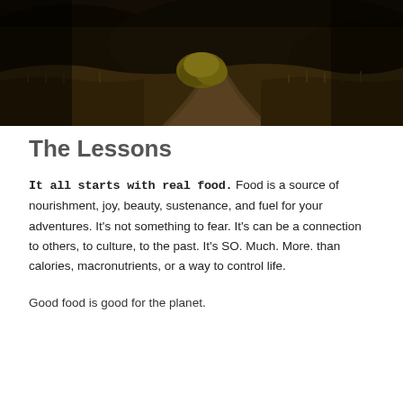[Figure (photo): Dark moody landscape photo of a dirt path winding through dry brown scrubland with a yellow-green bush in the center and hills in the background]
The Lessons
It all starts with real food. Food is a source of nourishment, joy, beauty, sustenance, and fuel for your adventures. It's not something to fear. It's can be a connection to others, to culture, to the past. It's SO. Much. More. than calories, macronutrients, or a way to control life.
Good food is good for the planet.